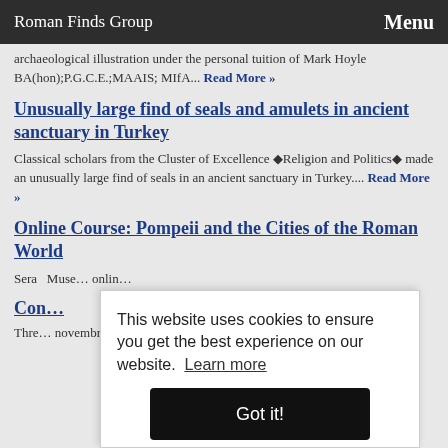Roman Finds Group    Menu
archaeological illustration under the personal tuition of Mark Hoyle BA(hon);P.G.C.E.;MAAIS; MIfA... Read More »
Unusually large find of seals and amulets in ancient sanctuary in Turkey
Classical scholars from the Cluster of Excellence �Religion and Politics� made an unusually large find of seals in an ancient sanctuary in Turkey.... Read More »
Online Course: Pompeii and the Cities of the Roman World
Sera… Muse… onlin…
Con…
Thre… novembre 2012 # Mus�e d'Aquitaine # Bordeaux.
This website uses cookies to ensure you get the best experience on our website. Learn more